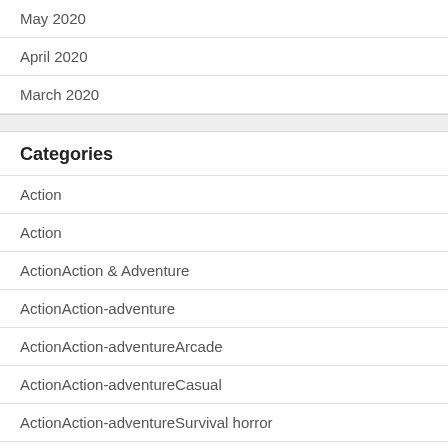May 2020
April 2020
March 2020
Categories
Action
Action
ActionAction & Adventure
ActionAction-adventure
ActionAction-adventureArcade
ActionAction-adventureCasual
ActionAction-adventureSurvival horror
ActionAction-adventureSurvival horrorCasual